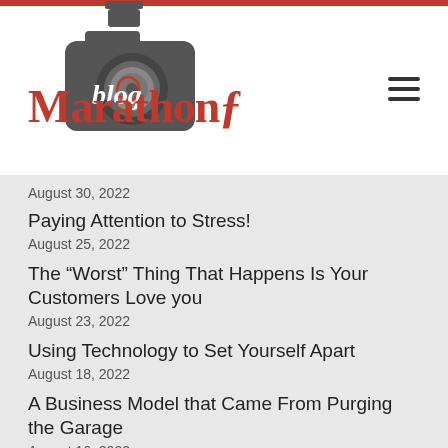[Figure (logo): Marathon blog logo with red text 'Marathon' and a camera icon with 'blog' written in cursive script]
August 30, 2022
Paying Attention to Stress!
August 25, 2022
The “Worst” Thing That Happens Is Your Customers Love you
August 23, 2022
Using Technology to Set Yourself Apart
August 18, 2022
A Business Model that Came From Purging the Garage
August 16, 2022